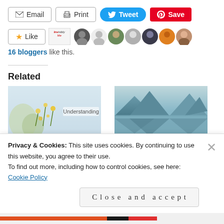[Figure (screenshot): Social sharing buttons row: Email, Print, Tweet (blue), Save/Pinterest (red)]
[Figure (screenshot): Like button with star, followed by avatar strip of blogger profile images, and Invisibly Me logo]
16 bloggers like this.
Related
[Figure (photo): Floral/nature image with text 'Understanding' overlaid]
Help Us Celebrate Our
[Figure (photo): Scenic lake and mountain image in teal tones]
Born in 2014 Survivors
Privacy & Cookies: This site uses cookies. By continuing to use this website, you agree to their use.
To find out more, including how to control cookies, see here: Cookie Policy
Close and accept